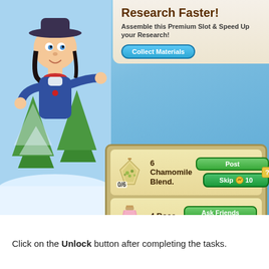[Figure (screenshot): FarmVille-style game UI screenshot showing 'Research Faster!' dialog with a cartoon cowgirl character and a panel listing three material collection tasks: 6 Chamomile Blend (0/6, Post/Skip 10), 4 Rose Waters (0/4, Ask Friends/Skip 10), 4 Triple Berry Syrups (0/4, Ask Friends/Skip 10). Background shows snowy winter farm scene with green trees.]
Click on the Unlock button after completing the tasks.